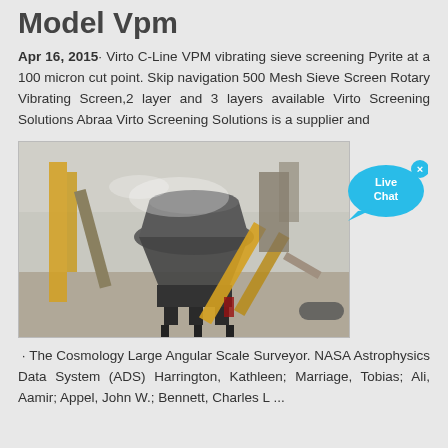Model Vpm
Apr 16, 2015· Virto C-Line VPM vibrating sieve screening Pyrite at a 100 micron cut point. Skip navigation 500 Mesh Sieve Screen Rotary Vibrating Screen,2 layer and 3 layers available Virto Screening Solutions Abraa Virto Screening Solutions is a supplier and
[Figure (photo): Industrial mining/quarrying equipment: a large cone crusher or screening machine mounted on steel framework, with conveyor belts visible and dust in the air. Heavy machinery in an outdoor industrial setting.]
· The Cosmology Large Angular Scale Surveyor. NASA Astrophysics Data System (ADS) Harrington, Kathleen; Marriage, Tobias; Ali, Aamir; Appel, John W.; Bennett, Charles L ...